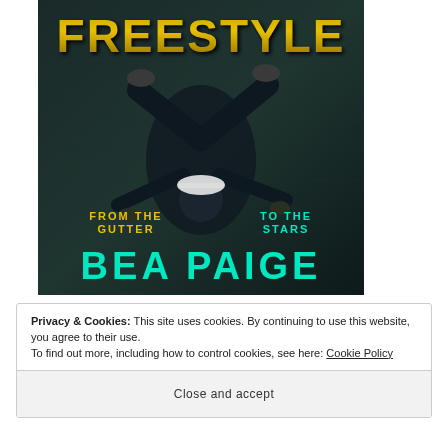[Figure (illustration): Book cover for 'Freestyle' by Bea Paige. A breakdancer performing a headstand move, wearing a backwards cap, against a dark gritty stone wall background. Title 'FREESTYLE' in large gold/yellow distressed font at the top. Tagline 'FROM THE GUTTER' in yellow on bottom left and 'TO THE STARS' in teal on bottom right. Author name 'BEA PAIGE' in large teal font at the bottom.]
Privacy & Cookies: This site uses cookies. By continuing to use this website, you agree to their use.
To find out more, including how to control cookies, see here: Cookie Policy
Close and accept